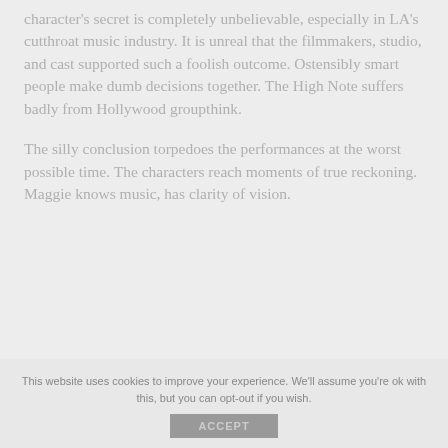character's secret is completely unbelievable, especially in LA's cutthroat music industry. It is unreal that the filmmakers, studio, and cast supported such a foolish outcome. Ostensibly smart people make dumb decisions together. The High Note suffers badly from Hollywood groupthink.
The silly conclusion torpedoes the performances at the worst possible time. The characters reach moments of true reckoning. Maggie knows music, has clarity of vision.
This website uses cookies to improve your experience. We'll assume you're ok with this, but you can opt-out if you wish.